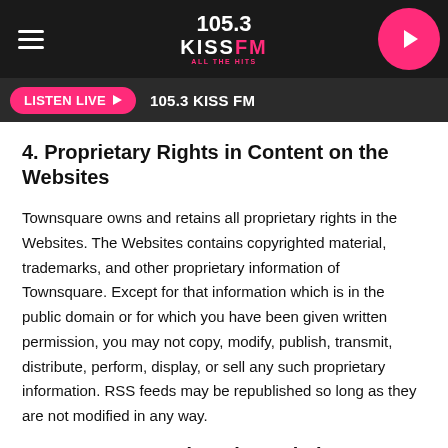105.3 KISS FM ALL THE HITS
LISTEN LIVE ▶ 105.3 KISS FM
4. Proprietary Rights in Content on the Websites
Townsquare owns and retains all proprietary rights in the Websites. The Websites contains copyrighted material, trademarks, and other proprietary information of Townsquare. Except for that information which is in the public domain or for which you have been given written permission, you may not copy, modify, publish, transmit, distribute, perform, display, or sell any such proprietary information. RSS feeds may be republished so long as they are not modified in any way.
5. Content Posted on the Websites.